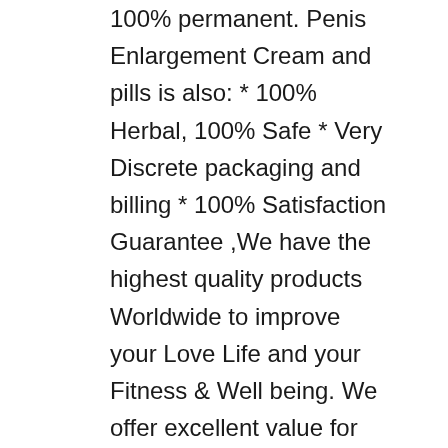100% permanent. Penis Enlargement Cream and pills is also: * 100% Herbal, 100% Safe * Very Discrete packaging and billing * 100% Satisfaction Guarantee ,We have the highest quality products Worldwide to improve your Love Life and your Fitness & Well being. We offer excellent value for money and provide you with a fast, efficient and friendly service. We supply men with alternative Herbal Medicine for ailments like Impotence (Erectile dysfunction),premature ejaculation, Fertility problems and other serious issues manhood Contact us right non via whatsapp him +2348105527464 or Email Drakioya17spellhome@gmail.com you can checkout is website: